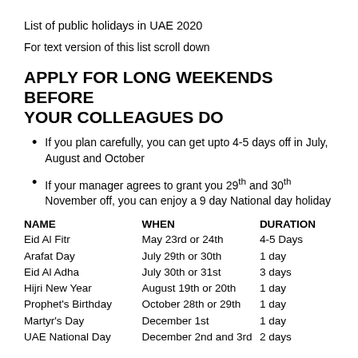List of public holidays in UAE 2020
For text version of this list scroll down
APPLY FOR LONG WEEKENDS BEFORE YOUR COLLEAGUES DO
If you plan carefully, you can get upto 4-5 days off in July, August and October
If your manager agrees to grant you 29th and 30th November off, you can enjoy a 9 day National day holiday
| NAME | WHEN | DURATION |
| --- | --- | --- |
| Eid Al Fitr | May 23rd or 24th | 4-5 Days |
| Arafat Day | July 29th or 30th | 1 day |
| Eid Al Adha | July 30th or 31st | 3 days |
| Hijri New Year | August 19th or 20th | 1 day |
| Prophet's Birthday | October 28th or 29th | 1 day |
| Martyr's Day | December 1st | 1 day |
| UAE National Day | December 2nd and 3rd | 2 days |